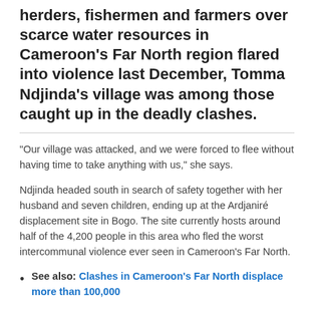herders, fishermen and farmers over scarce water resources in Cameroon's Far North region flared into violence last December, Tomma Ndjinda's village was among those caught up in the deadly clashes.
“Our village was attacked, and we were forced to flee without having time to take anything with us,” she says.
Ndjinda headed south in search of safety together with her husband and seven children, ending up at the Ardjaniré displacement site in Bogo. The site currently hosts around half of the 4,200 people in this area who fled the worst intercommunal violence ever seen in Cameroon’s Far North.
See also: Clashes in Cameroon’s Far North displace more than 100,000